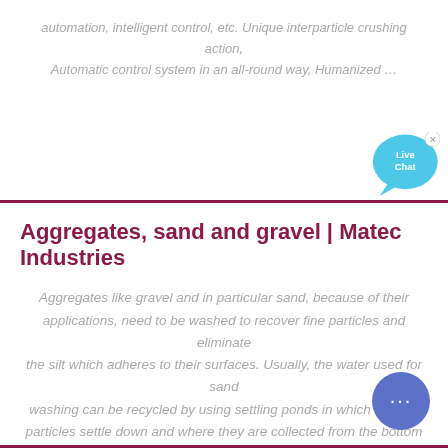automation, intelligent control, etc. Unique interparticle crushing action, Automatic control system in an all-round way, Humanized …
Aggregates, sand and gravel | Matec Industries
Aggregates like gravel and in particular sand, because of their applications, need to be washed to recover fine particles and eliminate the silt which adheres to their surfaces. Usually, the water used for sand washing can be recycled by using settling ponds in which heavier particles settle down and where they are collected from the bottom to …